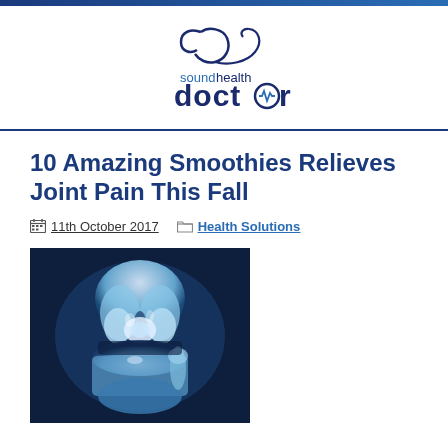[Figure (logo): Sound Health Doctor logo with stylized stethoscope design above the text 'soundhealth doctor']
10 Amazing Smoothies Relieves Joint Pain This Fall
11th October 2017   Health Solutions
[Figure (photo): X-ray image of a human knee joint showing bones in blue-white tones]